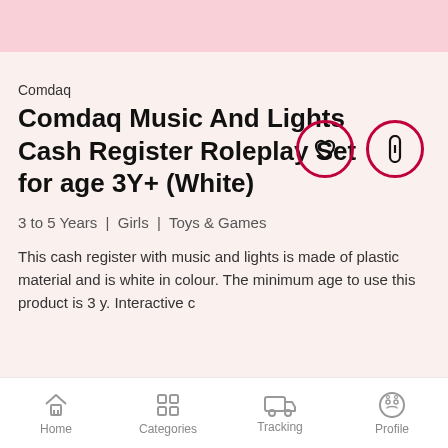Comdaq
Comdaq Music And Lights Cash Register Roleplay Set for age 3Y+ (White)
3 to 5 Years | Girls | Toys & Games
This cash register with music and lights is made of plastic material and is white in colour. The minimum age to use this product is 3 y. Interactive c
Home   Categories   Tracking   Profile